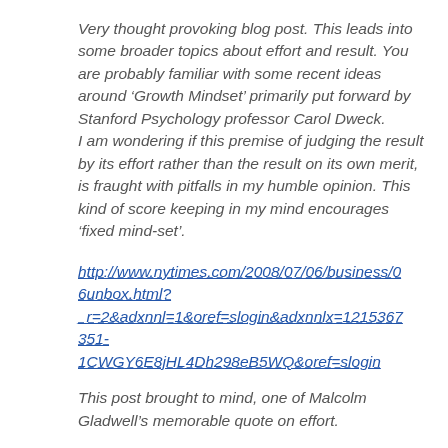Very thought provoking blog post. This leads into some broader topics about effort and result. You are probably familiar with some recent ideas around ‘Growth Mindset’ primarily put forward by Stanford Psychology professor Carol Dweck. I am wondering if this premise of judging the result by its effort rather than the result on its own merit, is fraught with pitfalls in my humble opinion. This kind of score keeping in my mind encourages ‘fixed mind-set’.
http://www.nytimes.com/2008/07/06/business/06unbox.html?_r=2&adxnnl=1&oref=slogin&adxnnlx=1215367351-1CWGY6E8jHL4Dh298eB5WQ&oref=slogin
This post brought to mind, one of Malcolm Gladwell’s memorable quote on effort.